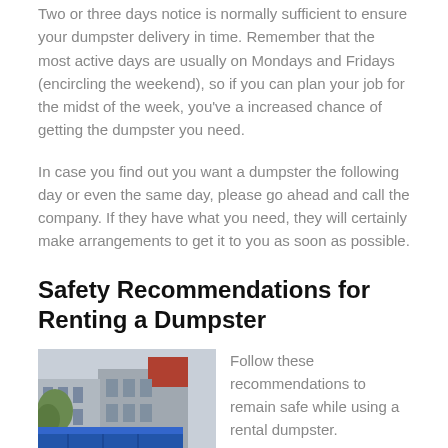Two or three days notice is normally sufficient to ensure your dumpster delivery in time. Remember that the most active days are usually on Mondays and Fridays (encircling the weekend), so if you can plan your job for the midst of the week, you've a increased chance of getting the dumpster you need.
In case you find out you want a dumpster the following day or even the same day, please go ahead and call the company. If they have what you need, they will certainly make arrangements to get it to you as soon as possible.
Safety Recommendations for Renting a Dumpster
[Figure (photo): A blue dumpster/container parked on a street in front of a building with a tree visible on the left and a red-roofed building in the background.]
Follow these recommendations to remain safe while using a rental dumpster.